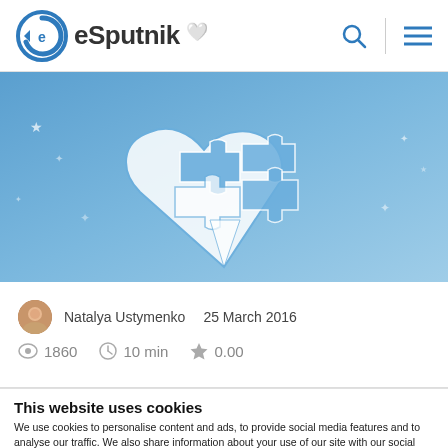eSputnik
[Figure (illustration): Hero banner with blue gradient background and a heart-shaped puzzle piece illustration in white and blue tones, with stars/sparkles in the background]
Natalya Ustymenko   25 March 2016
1860   10 min   0.00
This website uses cookies
We use cookies to personalise content and ads, to provide social media features and to analyse our traffic. We also share information about your use of our site with our social media, advertising and analytics partners who may combine it with other information that you've provided to them or that they've collected from your use of their services. You consent to our cookies if you continue to use our website.
OK
Settings